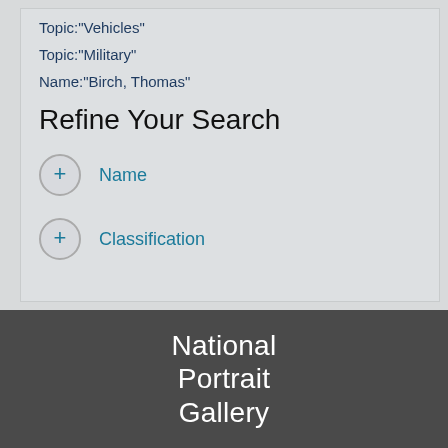Topic:"Vehicles"
Topic:"Military"
Name:"Birch, Thomas"
Refine Your Search
+ Name
+ Classification
National Portrait Gallery